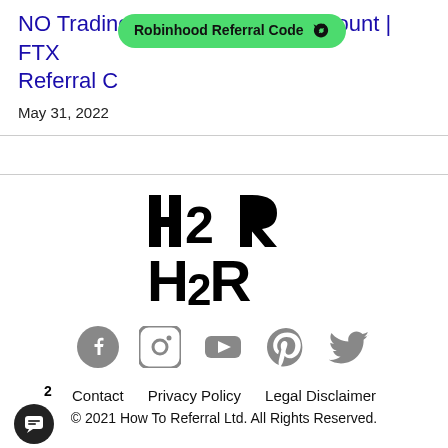NO Trading Fees + Lifetime Discount | FTX Referral C…
[Figure (other): Green rounded badge/button with text 'Robinhood Referral Code' and a rocket icon]
May 31, 2022
[Figure (logo): H2R logo in black bold letters]
[Figure (other): Social media icons row: Facebook, Instagram, YouTube, Pinterest, Twitter — all in grey]
Contact   Privacy Policy   Legal Disclaimer
© 2021 How To Referral Ltd. All Rights Reserved.